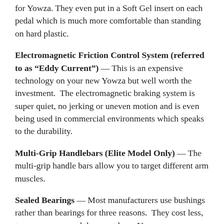for Yowza. They even put in a Soft Gel insert on each pedal which is much more comfortable than standing on hard plastic.
Electromagnetic Friction Control System (referred to as “Eddy Current”) — This is an expensive technology on your new Yowza but well worth the investment. The electromagnetic braking system is super quiet, no jerking or uneven motion and is even being used in commercial environments which speaks to the durability.
Multi-Grip Handlebars (Elite Model Only) — The multi-grip handle bars allow you to target different arm muscles.
Sealed Bearings — Most manufacturers use bushings rather than bearings for three reasons. They cost less, to save money, and they cost less. Yowza uses bearings rather than bushings for three reasons. Sealed...